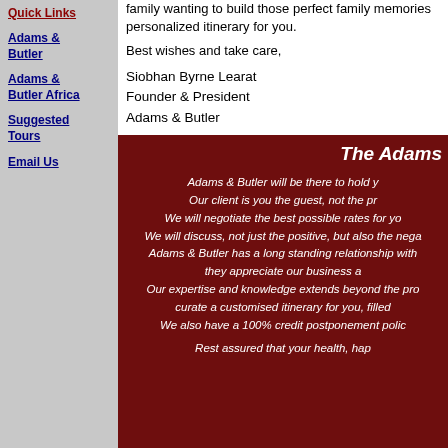Quick Links
Adams & Butler
Adams & Butler Africa
Suggested Tours
Email Us
family wanting to build those perfect family memories personalized itinerary for you.
Best wishes and take care,
Siobhan Byrne Learat
Founder & President
Adams & Butler
The Adams
Adams & Butler will be there to hold y
Our client is you the guest, not the pr
We will negotiate the best possible rates for yo
We will discuss, not just the positive, but also the nega
Adams & Butler has a long standing relationship with
they appreciate our business a
Our expertise and knowledge extends beyond the pro
curate a customised itinerary for you, filled
We also have a 100% credit postponement polic
Rest assured that your health, hap